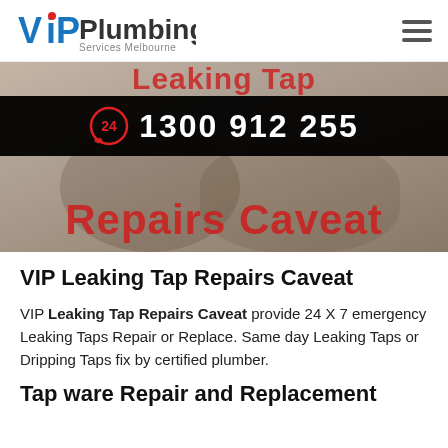VIP Plumbing Services Melbourne
[Figure (screenshot): Hero banner image showing hands working on plumbing tap/fixture, with red text 'Leaking Tap Repairs Caveat' partially visible. A black banner overlays the image showing a 24-hour icon and phone number 1300 912 255.]
VIP Leaking Tap Repairs Caveat
VIP Leaking Tap Repairs Caveat provide 24 X 7 emergency Leaking Taps Repair or Replace. Same day Leaking Taps or Dripping Taps fix by certified plumber.
Tap ware Repair and Replacement